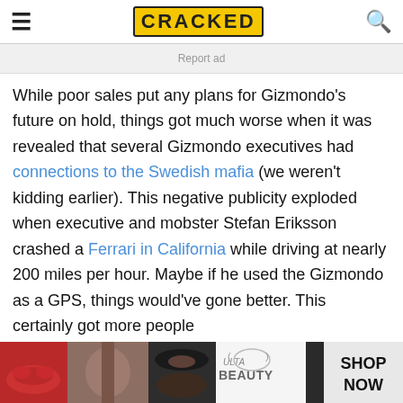CRACKED
Report ad
While poor sales put any plans for Gizmondo's future on hold, things got much worse when it was revealed that several Gizmondo executives had connections to the Swedish mafia (we weren't kidding earlier). This negative publicity exploded when executive and mobster Stefan Eriksson crashed a Ferrari in California while driving at nearly 200 miles per hour. Maybe if he used the Gizmondo as a GPS, things would've gone better. This certainly got more people
[Figure (photo): Bottom advertisement banner showing ULTA beauty products with makeup imagery and 'SHOP NOW' text]